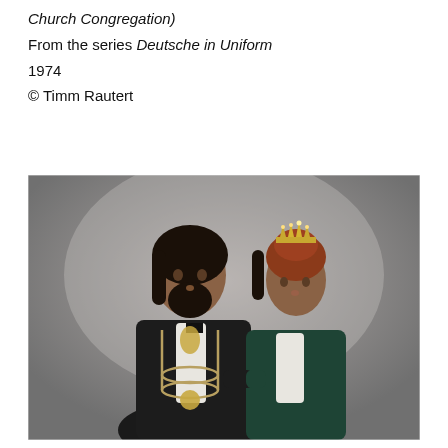Church Congregation) From the series Deutsche in Uniform 1974 © Timm Rautert
[Figure (photo): A formal portrait photograph of a man and a woman. The man has dark shoulder-length hair and a beard, wearing a black suit with a bow tie and a large ceremonial chain/medallion around his neck. The woman stands to his right, wearing a dark green velvet jacket and a tiara/crown, with reddish-brown hair. The background is a muted grey gradient studio backdrop. The photograph is from the series Deutsche in Uniform, 1974, by Timm Rautert.]